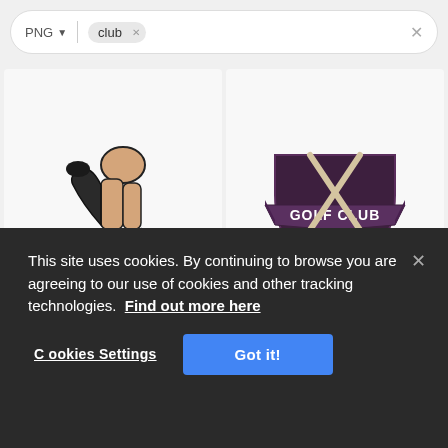[Figure (screenshot): Search bar with PNG filter and 'club' tag with X button, and an X on the right]
[Figure (illustration): Top-left grid cell: partial view of a golfer figure legs kicking up, illustrated style]
[Figure (logo): Top-right grid cell: Golf Club logo with crossed clubs and shield emblem, dark maroon]
[Figure (illustration): Bottom-left grid cell: teal silhouette of a golfer crouching and holding a club vertical]
[Figure (illustration): Bottom-right grid cell: illustrated hockey/golf sticks in yellow and orange tones]
This site uses cookies. By continuing to browse you are agreeing to our use of cookies and other tracking technologies. Find out more here
Cookies Settings
Got it!